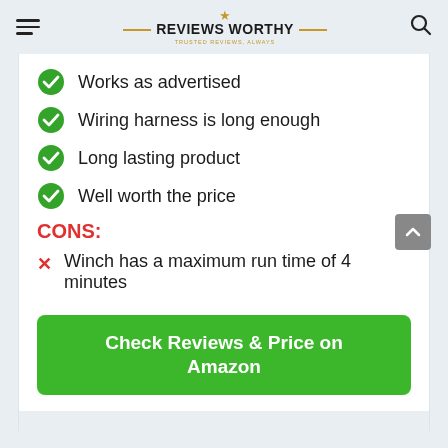Reviews Worthy — Trusted Reviews, Always
Works as advertised
Wiring harness is long enough
Long lasting product
Well worth the price
CONS:
Winch has a maximum run time of 4 minutes
Check Reviews & Price on Amazon